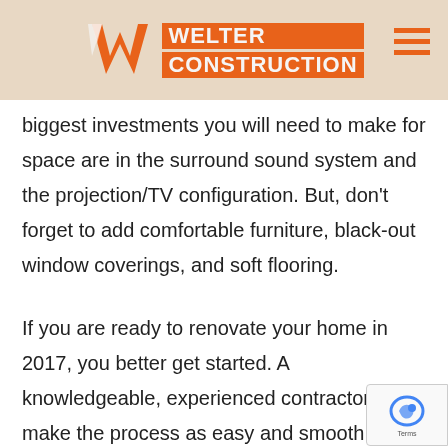Welter Construction
biggest investments you will need to make for space are in the surround sound system and the projection/TV configuration. But, don't forget to add comfortable furniture, black-out window coverings, and soft flooring.
If you are ready to renovate your home in 2017, you better get started. A knowledgeable, experienced contractor can make the process as easy and smooth as possible. Give Welter Construction a call